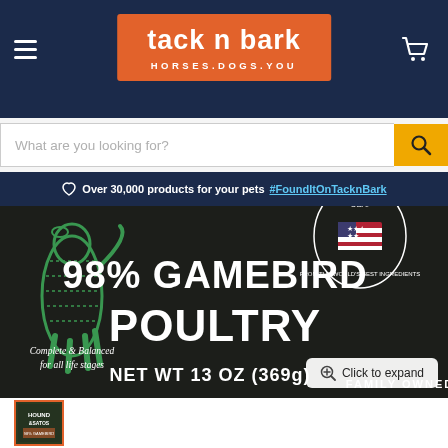tack n bark HORSES.DOGS.YOU
What are you looking for?
Over 30,000 products for your pets #FoundItOnTacknBark
[Figure (photo): Close-up of a dog food can label reading '98% GAMEBIRD POULTRY', 'NET WT 13 OZ (369g)', 'Made in the USA', 'Family Owned', 'Complete & Balanced for all life stages'. Brand is Hound & Satos.]
Click to expand
[Figure (photo): Thumbnail of the Hound & Satos 98% Gamebird Poultry dog food can]